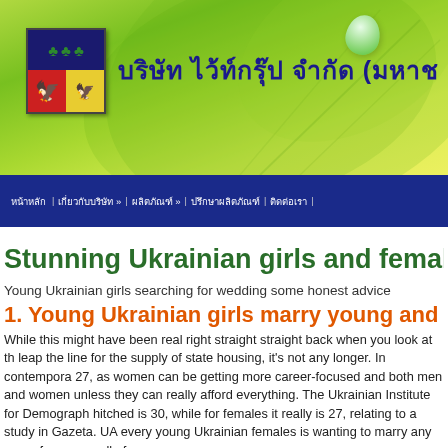[Figure (screenshot): Website header banner with green leaf background, shield/coat of arms logo on left, Thai company name text in dark blue, and a water droplet graphic on the right]
บริษัท ไว้ท์กรุ๊ป จำกัด (มหาช
หน้าหลัก  เกี่ยวกับบริษัท »  ผลิตภัณฑ์ »  ปรึกษาผลิตภัณฑ์  ติดต่อเรา
Stunning Ukrainian girls and females for da
Young Ukrainian girls searching for wedding some honest advice
1. Young Ukrainian girls marry young and cons
While this might have been real right straight straight back when you look at th leap the line for the supply of state housing, it's not any longer. In contempora 27, as women can be getting more career-focused and both men and women unless they can really afford everything. The Ukrainian Institute for Demograph hitched is 30, while for females it really is 27, relating to a study in Gazeta. UA every young Ukrainian females is wanting to marry any man of any age, all of